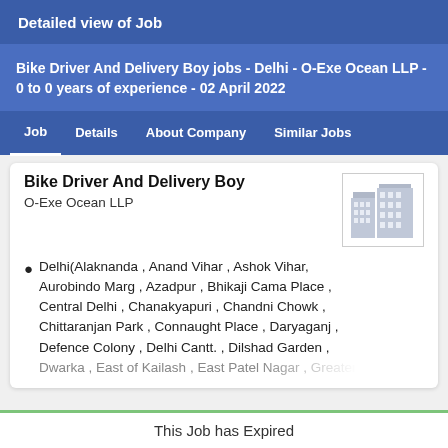Detailed view of Job
Bike Driver And Delivery Boy jobs - Delhi - O-Exe Ocean LLP - 0 to 0 years of experience - 02 April 2022
Job  Details  About Company  Similar Jobs
Bike Driver And Delivery Boy
O-Exe Ocean LLP
Delhi(Alaknanda , Anand Vihar , Ashok Vihar, Aurobindo Marg , Azadpur , Bhikaji Cama Place , Central Delhi , Chanakyapuri , Chandni Chowk , Chittaranjan Park , Connaught Place , Daryaganj , Defence Colony , Delhi Cantt. , Dilshad Garden , Dwarka , East of Kailash , East Patel Nagar , Greater
This Job has Expired